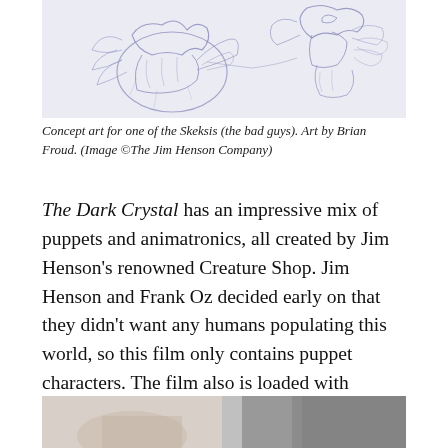[Figure (illustration): Concept art sketch of Skeksis characters in blue/purple ink, bird-like creatures with feathers and wings]
Concept art for one of the Skeksis (the bad guys). Art by Brian Froud. (Image ©The Jim Henson Company)
The Dark Crystal has an impressive mix of puppets and animatronics, all created by Jim Henson's renowned Creature Shop. Jim Henson and Frank Oz decided early on that they didn't want any humans populating this world, so this film only contains puppet characters. The film also is loaded with practical effects and miniatures. It's truly a creative tour de force.
[Figure (photo): Partial photograph visible at bottom of page, appears to show people or figures, partially cropped]